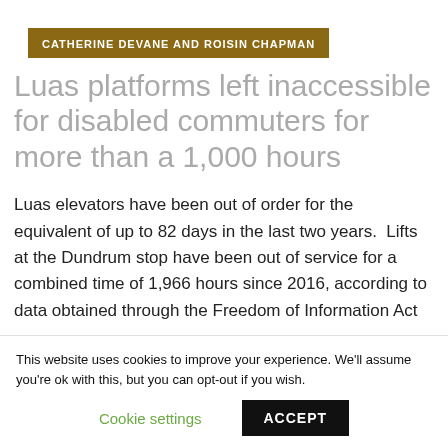CATHERINE DEVANE AND ROISIN CHAPMAN
Luas platforms left inaccessible for disabled commuters for more than a 1,000 hours
Luas elevators have been out of order for the equivalent of up to 82 days in the last two years.  Lifts at the Dundrum stop have been out of service for a combined time of 1,966 hours since 2016, according to data obtained through the Freedom of Information Act...
This website uses cookies to improve your experience. We'll assume you're ok with this, but you can opt-out if you wish.
Cookie settings   ACCEPT